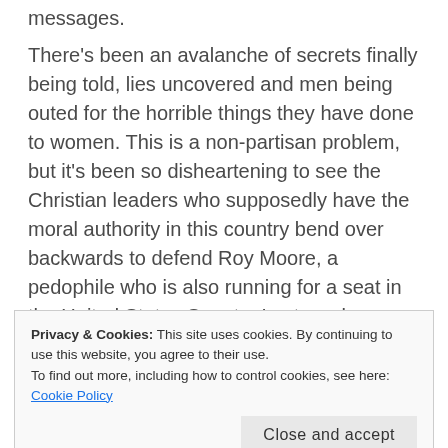messages.
There's been an avalanche of secrets finally being told, lies uncovered and men being outed for the horrible things they have done to women. This is a non-partisan problem, but it's been so disheartening to see the Christian leaders who supposedly have the moral authority in this country bend over backwards to defend Roy Moore, a pedophile who is also running for a seat in the United States Senate. Last week, Franklin Graham tweeted,
Privacy & Cookies: This site uses cookies. By continuing to use this website, you agree to their use.
To find out more, including how to control cookies, see here: Cookie Policy
Close and accept
many denouncing Roy Moore when they are guilty of